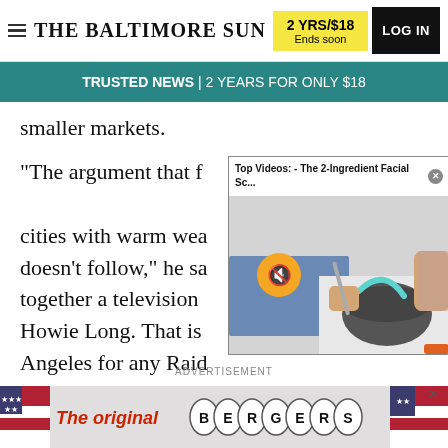THE BALTIMORE SUN
2 YRS/$18 Ends soon
LOG IN
TRUSTED NEWS | 2 YEARS FOR ONLY $18
smaller markets.
"The argument that free agents would flood to big cities with warm weather doesn't follow," he said. "You can put together a television package anywhere. Howie Long. That is why you go to Los Angeles for any Raiders player — the radio shows."
[Figure (screenshot): Video popup overlay showing 'Top Videos: - The 2-Ingredient Facial Sc...' with a mute button and a thumbnail of someone mixing ingredients in a bowl]
ADVERTISEMENT
[Figure (photo): Advertisement banner for 'The original BERGERS' with US flag imagery and oval letter tiles spelling BERGERS]